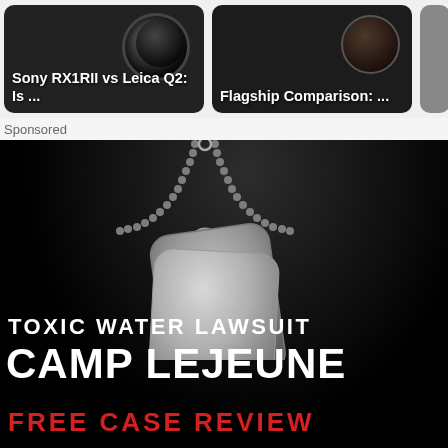[Figure (screenshot): Two thumbnail cards showing camera-related articles: 'Sony RX1RII vs Leica Q2: Is ...' and 'Flagship Comparison: ...' with a partial third card on the right]
Sponsored
[Figure (illustration): Advertisement banner with black background showing military dog tags on a ball chain. Text reads: TOXIC WATER LAWSUIT / CAMP LEJEUNE / FREE CASE REVIEW in white and red lettering.]